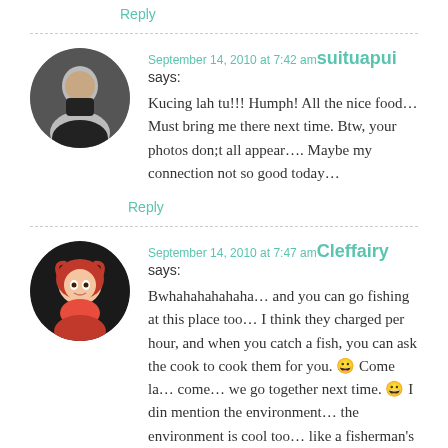Reply
September 14, 2010 at 7:42 am suituapui says:
Kucing lah tu!!! Humph! All the nice food… Must bring me there next time. Btw, your photos don;t all appear…. Maybe my connection not so good today…
Reply
September 14, 2010 at 7:47 am Cleffairy says:
Bwhahahahahaha… and you can go fishing at this place too… I think they charged per hour, and when you catch a fish, you can ask the cook to cook them for you. 😀 Come la… come… we go together next time. 😀 I din mention the environment… the environment is cool too… like a fisherman's village over there…so nice, so soothing…apart from the food, the environment is really relaxing… reminds me pretty much of